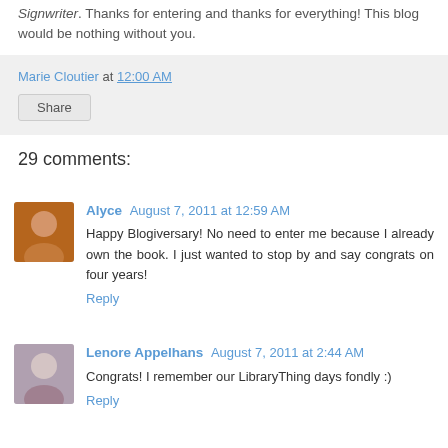Signwriter. Thanks for entering and thanks for everything! This blog would be nothing without you.
Marie Cloutier at 12:00 AM
Share
29 comments:
Alyce August 7, 2011 at 12:59 AM
Happy Blogiversary! No need to enter me because I already own the book. I just wanted to stop by and say congrats on four years!
Reply
Lenore Appelhans August 7, 2011 at 2:44 AM
Congrats! I remember our LibraryThing days fondly :)
Reply